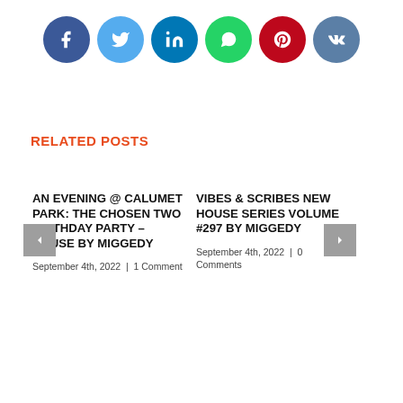[Figure (infographic): Row of 6 social media share buttons: Facebook (dark blue), Twitter (light blue), LinkedIn (dark teal), WhatsApp (green), Pinterest (red), VK (slate blue)]
RELATED POSTS
AN EVENING @ CALUMET PARK: THE CHOSEN TWO BIRTHDAY PARTY – HOUSE BY MIGGEDY
September 4th, 2022  |  1 Comment
VIBES & SCRIBES NEW HOUSE SERIES VOLUME #297 BY MIGGEDY
September 4th, 2022  |  0 Comments